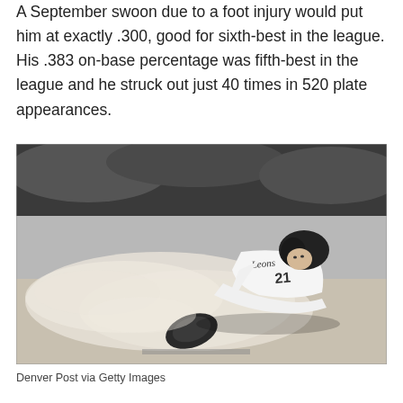A September swoon due to a foot injury would put him at exactly .300, good for sixth-best in the league. His .383 on-base percentage was fifth-best in the league and he struck out just 40 times in 520 plate appearances.
[Figure (photo): Black and white photograph of a baseball player wearing jersey number 21 (Leons) sliding into base in a cloud of dust, with a catcher's mitt visible on the ground.]
Denver Post via Getty Images